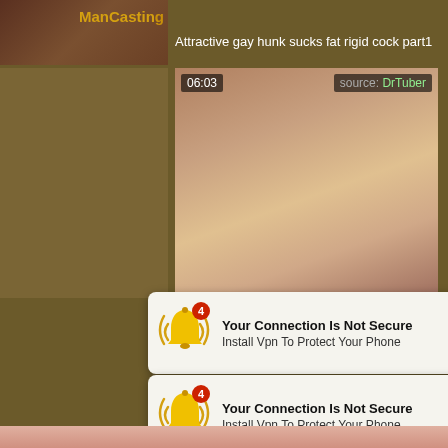[Figure (screenshot): Partial view of ManCasting video thumbnail at top left]
Attractive gay hunk sucks fat rigid cock part1
[Figure (screenshot): Video thumbnail showing two people kissing, with time overlay 06:03 and source: DrTuber label]
[Figure (screenshot): Notification popup 1: bell icon with badge 4, title 'Your Connection Is Not Secure', body 'Install Vpn To Protect Your Phone']
[Figure (screenshot): Notification popup 2: bell icon with badge 4, title 'Your Connection Is Not Secure', body 'Install Vpn To Protect Your Phone']
[Figure (photo): Bottom strip showing partial face/skin]